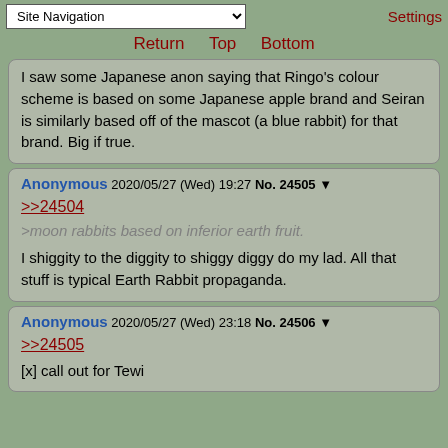Site Navigation | Settings
Return  Top  Bottom
I saw some Japanese anon saying that Ringo's colour scheme is based on some Japanese apple brand and Seiran is similarly based off of the mascot (a blue rabbit) for that brand. Big if true.
Anonymous 2020/05/27 (Wed) 19:27 No. 24505 ▼
>>24504
>moon rabbits based on inferior earth fruit.
I shiggity to the diggity to shiggy diggy do my lad. All that stuff is typical Earth Rabbit propaganda.
Anonymous 2020/05/27 (Wed) 23:18 No. 24506 ▼
>>24505
[x] call out for Tewi